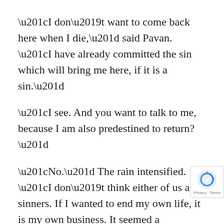“I don’t want to come back here when I die,” said Pavan. “I have already committed the sin which will bring me here, if it is a sin.”
“I see. And you want to talk to me, because I am also predestined to return?”
“No.” The rain intensified. “I don’t think either of us are sinners. If I wanted to end my own life, it is my own business. It seemed a reasonable exchange for my circumstances.”
“I’m listening,” said Alexander, raising his voice above the wind.
“Why should anyone go to Hell because we